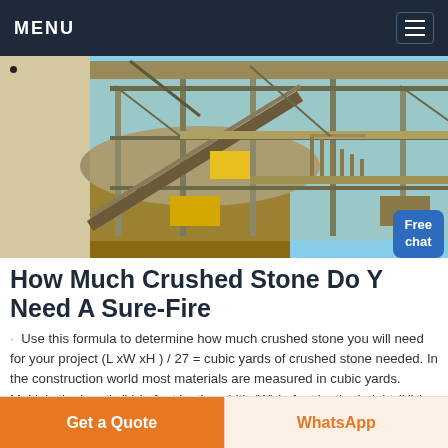MENU
[Figure (photo): Industrial stone crushing plant with conveyor belts, metal scaffolding, and processing equipment outdoors]
How Much Crushed Stone Do Y Need A Sure-Fire
Use this formula to determine how much crushed stone you will need for your project (L xW xH ) / 27 = cubic yards of crushed stone needed. In the construction world most materials are measured in cubic yards. Multiply the length (L) in feet by the width (W) in feet by the height (H) in feet and divide by 27.